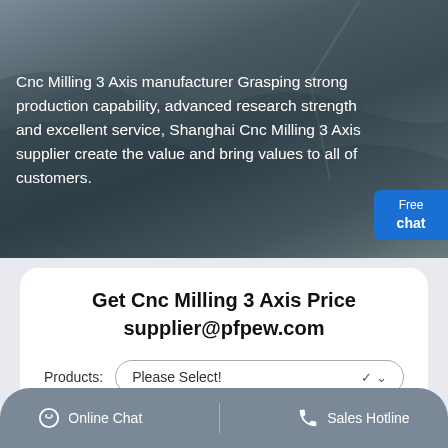[Figure (photo): Aerial photo of a large open-pit mining or quarry operation showing grey rocky terrain with heavy machinery and excavation layers. Overlaid with white promotional text.]
Cnc Milling 3 Axis manufacturer Grasping strong production capability, advanced research strength and excellent service, Shanghai Cnc Milling 3 Axis supplier create the value and bring values to all of customers.
Get Cnc Milling 3 Axis Price
supplier@pfpew.com
Products: Please Select!
Online Chat | Sales Hotline